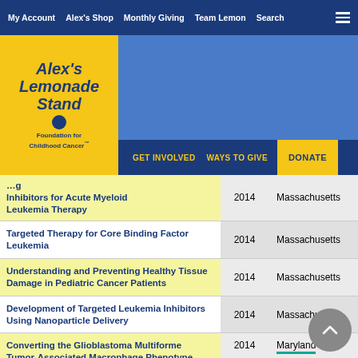My Account | Alex's Shop | Monthly Giving | Team Lemon | Search
[Figure (logo): Alex's Lemonade Stand Foundation for Childhood Cancer logo with navigation: GET INVOLVED, WAYS TO GIVE, DONATE]
| Title | Year | State |
| --- | --- | --- |
| [partial] Inhibitors for Acute Myeloid Leukemia Therapy | 2014 | Massachusetts |
| Targeted Therapy for Core Binding Factor Leukemia | 2014 | Massachusetts |
| Understanding and Preventing Healthy Tissue Damage in Pediatric Cancer Patients | 2014 | Massachusetts |
| Development of Targeted Leukemia Inhibitors Using Nanoparticle Delivery | 2014 | Massachusetts |
| Converting the Glioblastoma Multiforme Tumor-Associated Macrophage Phenotype | 2014 | Maryland |